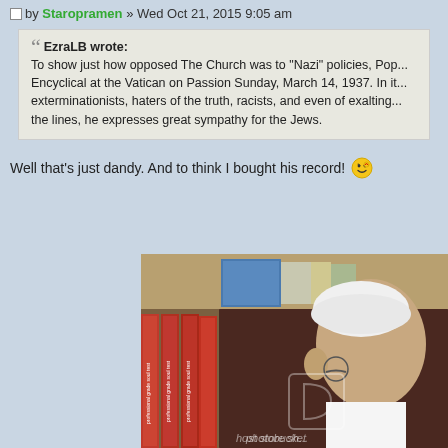by Staropramen » Wed Oct 21, 2015 9:05 am
EzraLB wrote: To show just how opposed The Church was to "Nazi" policies, Pop... Encyclical at the Vatican on Passion Sunday, March 14, 1937. In it... exterminationists, haters of the truth, racists, and even of exalting... the lines, he expresses great sympathy for the Jews.
Well that's just dandy. And to think I bought his record! 😄
[Figure (photo): Photo of a person in white papal cap reading, with red-spined books on a shelf behind, Photobucket watermark visible]